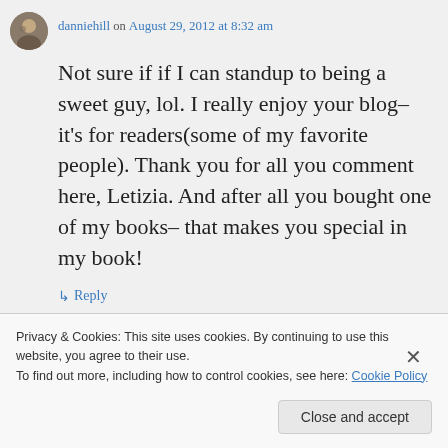danniehill on August 29, 2012 at 8:32 am
Not sure if if I can standup to being a sweet guy, lol. I really enjoy your blog– it's for readers(some of my favorite people). Thank you for all you comment here, Letizia. And after all you bought one of my books– that makes you special in my book!
↳ Reply
Privacy & Cookies: This site uses cookies. By continuing to use this website, you agree to their use.
To find out more, including how to control cookies, see here: Cookie Policy
Close and accept